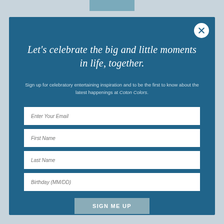Let's celebrate the big and little moments in life, together.
Sign up for celebratory entertaining inspiration and to be the first to know about the latest happenings at Coton Colors.
[Figure (screenshot): Email newsletter sign-up modal with four input fields (Enter Your Email, First Name, Last Name, Birthday MM/DD) and a SIGN ME UP button on a teal/dark blue background.]